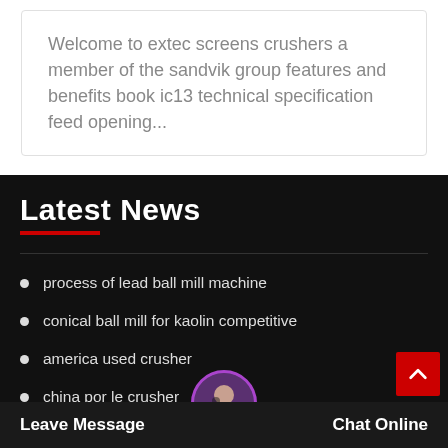Welcome to extec screens crushers a member of the sandvik group features and benefits book ic13 technical specification feed opening...
Latest News
process of lead ball mill machine
conical ball mill for kaolin competitive
america used crusher
china por le crusher
washing sand gravel eq...
Leave Message
Chat Online